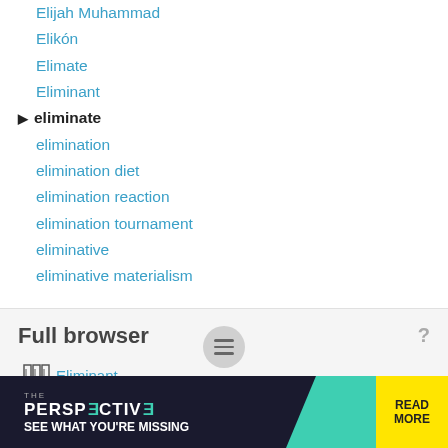Elijah Muhammad
Elikón
Elimate
Eliminant
▶ eliminate
elimination
elimination diet
elimination reaction
elimination tournament
eliminative
eliminative materialism
Full browser
Eliminant
Eliminant
Eliminant
▶ eliminate
[Figure (screenshot): Advertisement banner: THE PERSPECTIVE - SEE WHAT YOU'RE MISSING with READ MORE button]